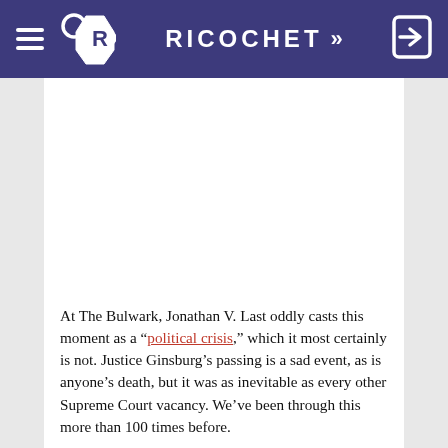RICOCHET >>
[Figure (other): White blank/advertisement area within article card]
At The Bulwark, Jonathan V. Last oddly casts this moment as a “political crisis,” which it most certainly is not. Justice Ginsburg’s passing is a sad event, as is anyone’s death, but it was as inevitable as every other Supreme Court vacancy. We’ve been through this more than 100 times before.